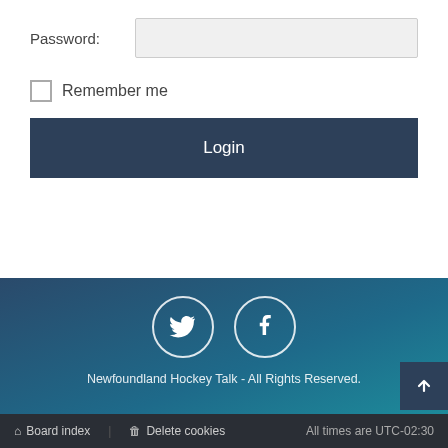Password:
Remember me
Login
[Figure (illustration): Social media icons: Twitter and Facebook circles in a dark blue gradient footer]
Newfoundland Hockey Talk - All Rights Reserved.
Board index   Delete cookies   All times are UTC-02:30